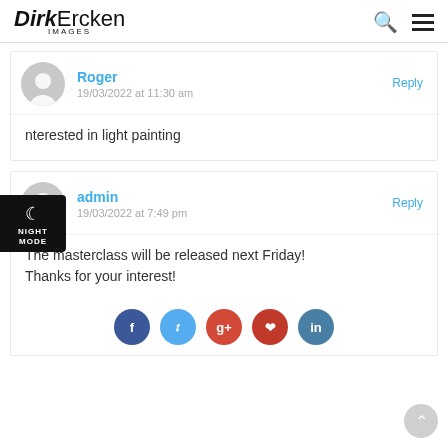DirkErcken IMAGES
Roger
19/03/2022 at 11:30 am
Reply
interested in light painting
admin
19/03/2022 at 7:49 pm
Reply
The masterclass will be released next Friday! Thanks for your interest!